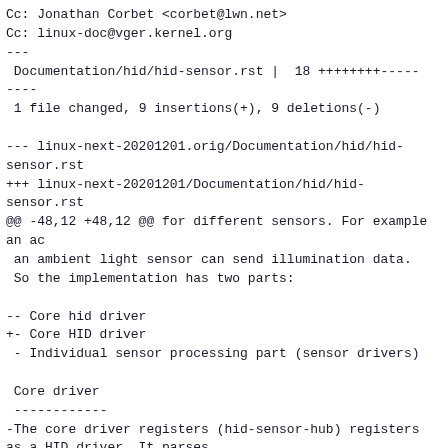Cc: Jonathan Corbet <corbet@lwn.net>
Cc: linux-doc@vger.kernel.org
---
 Documentation/hid/hid-sensor.rst |  18 ++++++++-----
----
 1 file changed, 9 insertions(+), 9 deletions(-)

--- linux-next-20201201.orig/Documentation/hid/hid-sensor.rst
+++ linux-next-20201201/Documentation/hid/hid-sensor.rst
@@ -48,12 +48,12 @@ for different sensors. For example an ac
 an ambient light sensor can send illumination data.
 So the implementation has two parts:

-- Core hid driver
+- Core HID driver
 - Individual sensor processing part (sensor drivers)

 Core driver
 ------------
-The core driver registers (hid-sensor-hub) registers as a HID driver. It parses
+The core driver (hid-sensor-hub) registers as a HID driver. It parses
 report descriptors and identifies all the sensors present. It adds an MFD device
 with name HID-SENSOR-xxxx (where xxxx is usage id from the specification).